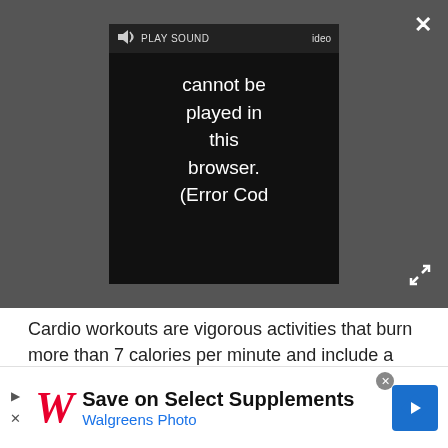[Figure (screenshot): Video player interface showing a dark gray bar with a video player window. The player displays a sound/play button bar at top with 'PLAY SOUND' text and speaker icon, and an error message reading 'Video cannot be played in this browser. (Error Cod'. A close (×) button is in the top right and an expand/fullscreen icon is in the bottom right.]
Cardio workouts are vigorous activities that burn more than 7 calories per minute and include a number of exercises, such as running, cycling, dancing and weight training, according to guidelines set by the Centers for Disease Control and Prevention.
Heartbeats vary with workout intensity. Vigorous exercises often cause people's heart rates to jump to
[Figure (screenshot): Advertisement banner for Walgreens. Shows Walgreens script W logo in red, text 'Save on Select Supplements' in bold black, 'Walgreens Photo' in blue, a blue diamond-shaped navigation icon on the right, and ad control buttons (play, close) on the left.]